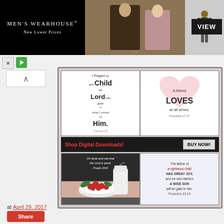[Figure (photo): Men's Wearhouse advertisement banner showing a couple in formal attire, a man in a suit, and a VIEW button]
[Figure (infographic): Christian Bible verse image collage with four panels: 'I Prayed for this and the Child the Lord has given me what I asked of Him - 1 Samuel 1:27', 'A friend LOVES at all times. Proverbs 17:17', a photo of berries and milk with Psalm 34:8 text, and 'The father of a righteous child HAS GREAT JOY, and he who fathers A WISE SON will be glad in him. Proverbs 23:24'. Shop Digital Downloads! BUY NOW! banner in middle.]
at April 29, 2017
Share